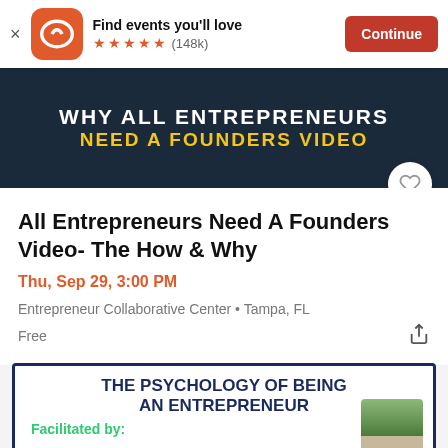Find events you'll love ★★★★★ (148k) Continue
[Figure (photo): Dark navy background banner with white bold text 'WHY ALL ENTREPRENEURS' and yellow bold text 'NEED A FOUNDERS VIDEO']
All Entrepreneurs Need A Founders Video- The How & Why
Thu, Sep 29, 3:00 PM
Entrepreneur Collaborative Center • Tampa, FL
Free
[Figure (illustration): White card with dark blue border containing bold uppercase text 'THE PSYCHOLOGY OF BEING AN ENTREPRENEUR' and green text 'Facilitated by:' with a partial photo of a person]
Facilitated by: